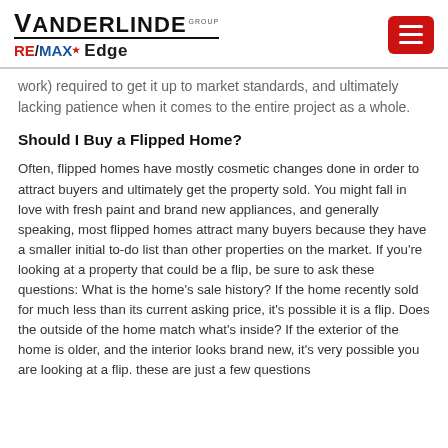VANDERLINDE GROUP RE/MAX Edge [logo/header]
work) required to get it up to market standards, and ultimately lacking patience when it comes to the entire project as a whole.
Should I Buy a Flipped Home?
Often, flipped homes have mostly cosmetic changes done in order to attract buyers and ultimately get the property sold. You might fall in love with fresh paint and brand new appliances, and generally speaking, most flipped homes attract many buyers because they have a smaller initial to-do list than other properties on the market. If you're looking at a property that could be a flip, be sure to ask these questions: What is the home's sale history? If the home recently sold for much less than its current asking price, it's possible it is a flip. Does the outside of the home match what's inside? If the exterior of the home is older, and the interior looks brand new, it's very possible you are looking at a flip. these are just a few questions